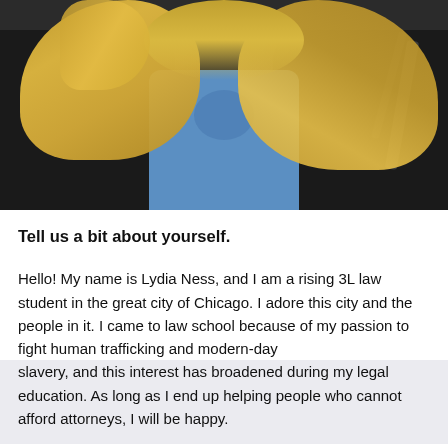[Figure (photo): Close-up photo of a woman with long blonde hair wearing a blue shirt and black leather jacket, taken from below/front angle, appears to be a selfie. Background shows dark car interior.]
Tell us a bit about yourself.
Hello! My name is Lydia Ness, and I am a rising 3L law student in the great city of Chicago. I adore this city and the people in it. I came to law school because of my passion to fight human trafficking and modern-day slavery, and this interest has broadened during my legal education. As long as I end up helping people who cannot afford attorneys, I will be happy.